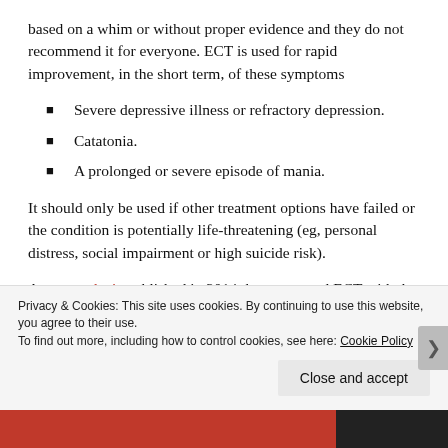based on a whim or without proper evidence and they do not recommend it for everyone. ECT is used for rapid improvement, in the short term, of these symptoms
Severe depressive illness or refractory depression.
Catatonia.
A prolonged or severe episode of mania.
It should only be used if other treatment options have failed or the condition is potentially life-threatening (eg, personal distress, social impairment or high suicide risk).
A metaanalysis published in 2014 that compared ECT with the newer transcranial magnetic stimulation concluded
Privacy & Cookies: This site uses cookies. By continuing to use this website, you agree to their use. To find out more, including how to control cookies, see here: Cookie Policy
Close and accept